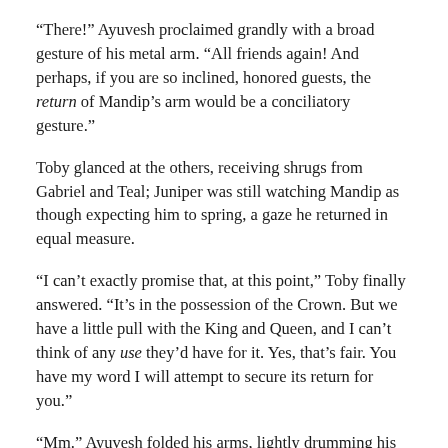“There!” Ayuvesh proclaimed grandly with a broad gesture of his metal arm. “All friends again! And perhaps, if you are so inclined, honored guests, the return of Mandip’s arm would be a conciliatory gesture.”
Toby glanced at the others, receiving shrugs from Gabriel and Teal; Juniper was still watching Mandip as though expecting him to spring, a gaze he returned in equal measure.
“I can’t exactly promise that, at this point,” Toby finally answered. “It’s in the possession of the Crown. But we have a little pull with the King and Queen, and I can’t think of any use they’d have for it. Yes, that’s fair. You have my word I will attempt to secure its return for you.”
“Mm.” Ayuvesh folded his arms, lightly drumming his flesh fingers against a metal forearm. “Yes, I suppose by now